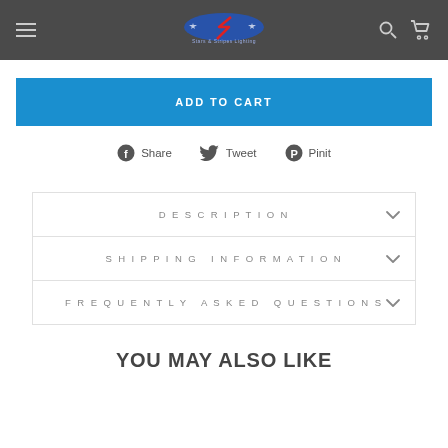Stars & Stripes Lighting — navigation header with logo, search, and cart icons
ADD TO CART
Share   Tweet   Pinit
DESCRIPTION
SHIPPING INFORMATION
FREQUENTLY ASKED QUESTIONS
YOU MAY ALSO LIKE